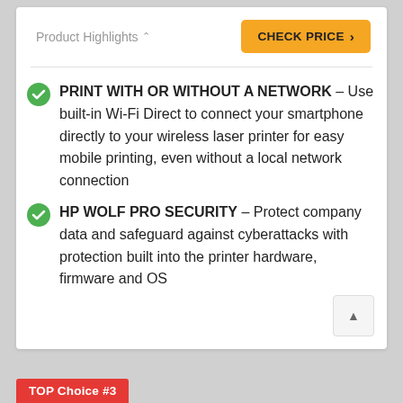Product Highlights ∧
PRINT WITH OR WITHOUT A NETWORK – Use built-in Wi-Fi Direct to connect your smartphone directly to your wireless laser printer for easy mobile printing, even without a local network connection
HP WOLF PRO SECURITY – Protect company data and safeguard against cyberattacks with protection built into the printer hardware, firmware and OS